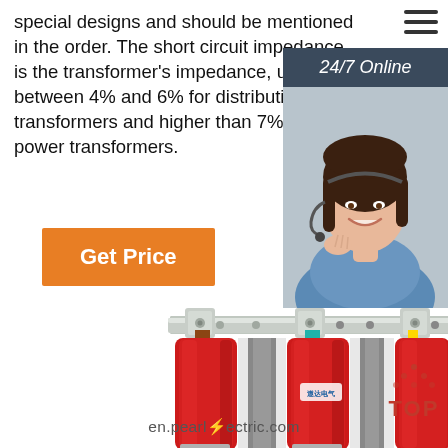special designs and should be mentioned in the order. The short circuit impedance is the transformer's impedance, usually between 4% and 6% for distribution transformers and higher than 7% for power transformers.
[Figure (other): Orange 'Get Price' button]
[Figure (photo): 24/7 Online chat agent sidebar with a smiling woman wearing a headset, dark blue panel with '24/7 Online' label, 'Click here for free chat!' text, and orange 'QUOTATION' button]
[Figure (photo): A dry-type three-phase transformer with red cylindrical coils and silver bus bar mounting, with Chinese brand logo visible, watermarked with en.pearlelectric.com]
en.pearlelectric.com